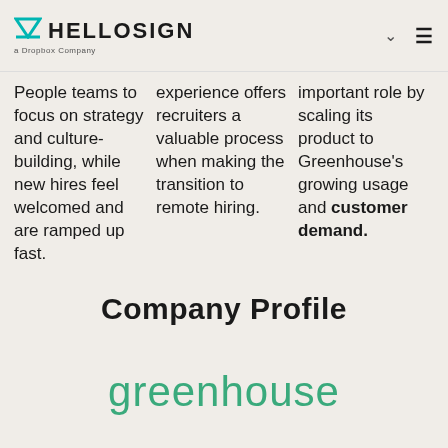HELLOSIGN a Dropbox Company
People teams to focus on strategy and culture-building, while new hires feel welcomed and are ramped up fast.
experience offers recruiters a valuable process when making the transition to remote hiring.
important role by scaling its product to Greenhouse's growing usage and customer demand.
Company Profile
[Figure (logo): greenhouse logo in teal/green color]